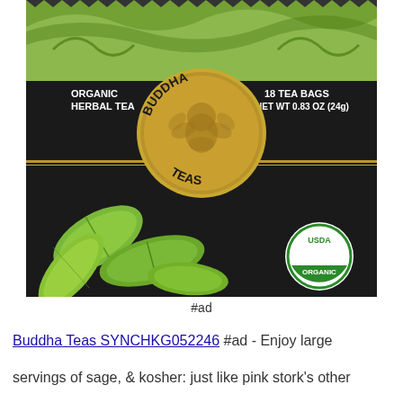[Figure (photo): Buddha Teas organic herbal tea box with 18 tea bags, net wt 0.83 oz (24g). Black and green box with Buddha Teas gold medallion logo, sage leaves illustration, and USDA Organic seal.]
#ad
Buddha Teas SYNCHKG052246 #ad - Enjoy large servings of sage, & kosher: just like pink stork's other teas...
servings of sage, & kosher: just like pink stork's other